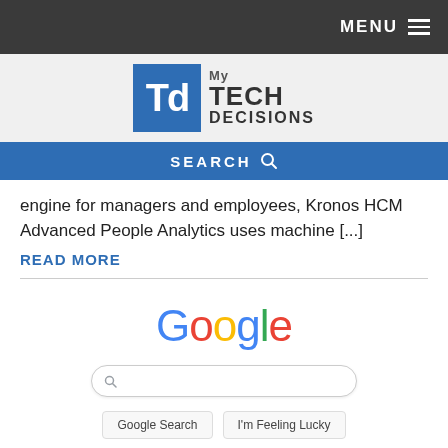MENU
[Figure (logo): My Tech Decisions logo with blue TD icon]
SEARCH
engine for managers and employees, Kronos HCM Advanced People Analytics uses machine [...]
READ MORE
[Figure (screenshot): Google homepage screenshot showing Google logo, search box, and Google Search and I'm Feeling Lucky buttons]